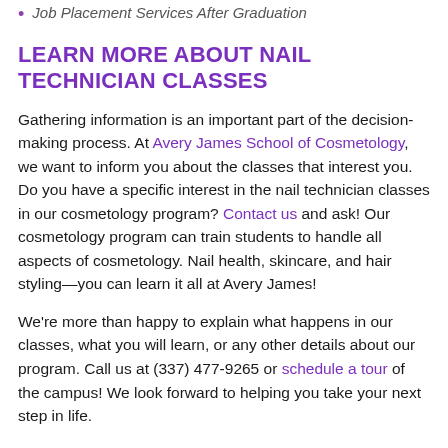Job Placement Services After Graduation
LEARN MORE ABOUT NAIL TECHNICIAN CLASSES
Gathering information is an important part of the decision-making process. At Avery James School of Cosmetology, we want to inform you about the classes that interest you. Do you have a specific interest in the nail technician classes in our cosmetology program? Contact us and ask! Our cosmetology program can train students to handle all aspects of cosmetology. Nail health, skincare, and hair styling—you can learn it all at Avery James!
We're more than happy to explain what happens in our classes, what you will learn, or any other details about our program. Call us at (337) 477-9265 or schedule a tour of the campus! We look forward to helping you take your next step in life.